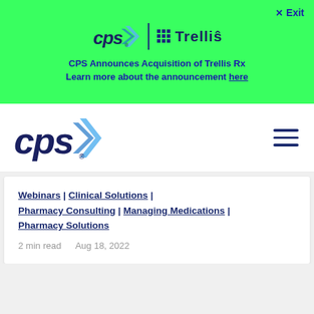[Figure (logo): CPS and Trellis logos in green banner with X Exit button]
CPS Announces Acquisition of Trellis Rx
Learn more about the announcement here
[Figure (logo): CPS main navigation logo with hamburger menu]
Webinars | Clinical Solutions | Pharmacy Consulting | Managing Medications | Pharmacy Solutions
2 min read    Aug 18, 2022
[Figure (photo): Blue background image bar at bottom of page]